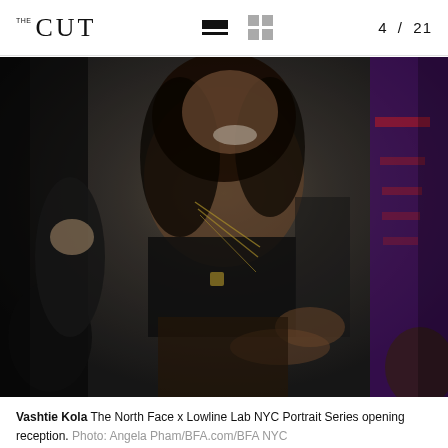THE CUT  4 / 21
[Figure (photo): A woman wearing a black crop top and layered gold necklaces laughing and gesturing with her hands at an event. She has long curly hair. A man in a suit is partially visible on the left. Purple signage is visible on the right background.]
Vashtie Kola The North Face x Lowline Lab NYC Portrait Series opening reception. Photo: Angela Pham/BFA.com/BFA NYC